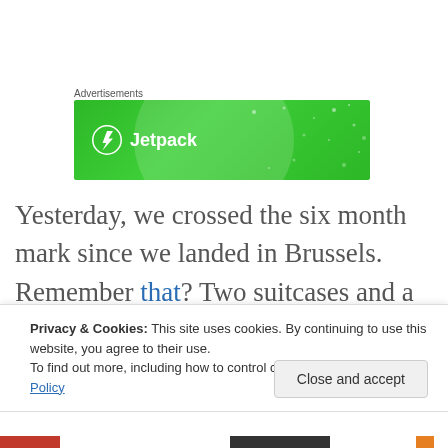Advertisements
[Figure (logo): Jetpack advertisement banner — green background with Jetpack logo and wordmark]
Yesterday, we crossed the six month mark since we landed in Brussels. Remember that? Two suitcases and a camera in tow, waiting another month for our stuff. It's like yesterday, but thankfully it's not (figuring out stuff was
Privacy & Cookies: This site uses cookies. By continuing to use this website, you agree to their use.
To find out more, including how to control cookies, see here: Cookie Policy
Close and accept